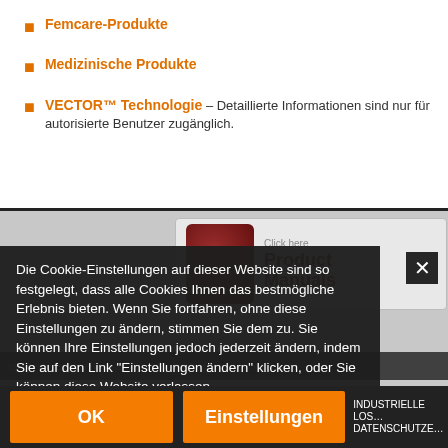Femcare-Produkte
Medizinische Produkte
VECTOR™ Technologie – Detaillierte Informationen sind nur für autorisierte Benutzer zugänglich.
[Figure (screenshot): Product Manuals click here box partially visible]
Die Cookie-Einstellungen auf dieser Website sind so festgelegt, dass alle Cookies Ihnen das bestmögliche Erlebnis bieten. Wenn Sie fortfahren, ohne diese Einstellungen zu ändern, stimmen Sie dem zu. Sie können Ihre Einstellungen jedoch jederzeit ändern, indem Sie auf den Link "Einstellungen ändern" klicken, oder Sie können diese Website verlassen.
Mehr Erfahren
OK
Einstellungen